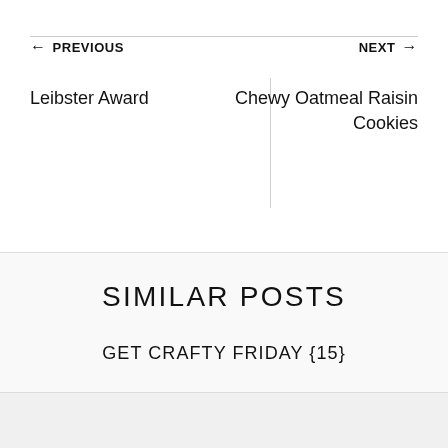← PREVIOUS
Leibster Award
NEXT →
Chewy Oatmeal Raisin Cookies
SIMILAR POSTS
GET CRAFTY FRIDAY {15}